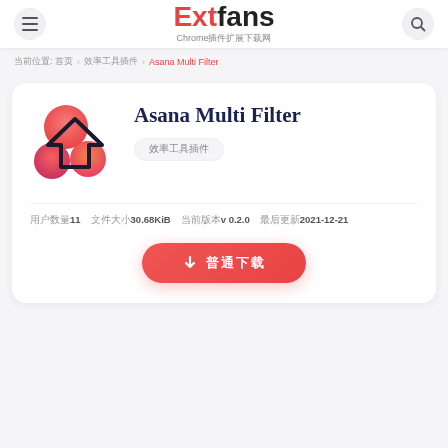Extfans Chrome插件扩展下载网
当前位置: 首页 › 效率工具插件 › Asana Multi Filter
Asana Multi Filter
效率工具插件
用户数量11  文件大小30.68KiB  当前版本v 0.2.0  最后更新2021-12-21
↓ 普通下载